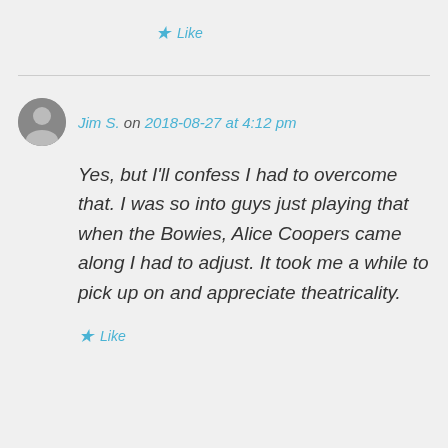★ Like
Jim S. on 2018-08-27 at 4:12 pm
Yes, but I'll confess I had to overcome that. I was so into guys just playing that when the Bowies, Alice Coopers came along I had to adjust. It took me a while to pick up on and appreciate theatricality.
★ Like